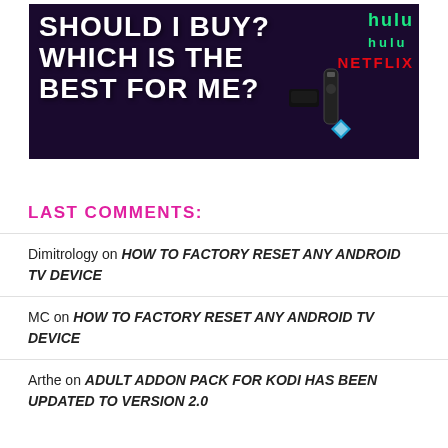[Figure (illustration): Dark purple banner advertisement with bold white text 'SHOULD I BUY? WHICH IS THE BEST FOR ME?' alongside streaming device images, Hulu logo in green, Netflix logo in red, Apple TV device, and Kodi logo.]
LAST COMMENTS:
Dimitrology on HOW TO FACTORY RESET ANY ANDROID TV DEVICE
MC on HOW TO FACTORY RESET ANY ANDROID TV DEVICE
Arthe on ADULT ADDON PACK FOR KODI HAS BEEN UPDATED TO VERSION 2.0